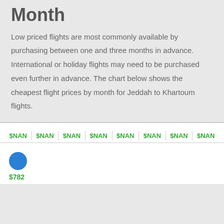Month
Low priced flights are most commonly available by purchasing between one and three months in advance. International or holiday flights may need to be purchased even further in advance. The chart below shows the cheapest flight prices by month for Jeddah to Khartoum flights.
[Figure (other): Chart showing cheapest flight prices by month for Jeddah to Khartoum. Top row shows $NAN labels for 8 columns. A blue dot data point is shown with a $782 price label below it.]